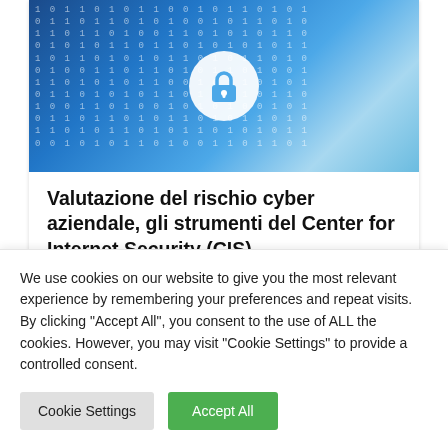[Figure (photo): Cybersecurity themed banner image showing binary code (0s and 1s) overlaid on a blue digital circuit board background, with a white glowing padlock/lock icon in the center]
Valutazione del rischio cyber aziendale, gli strumenti del Center for Internet Security (CIS)
12 Settembre 2019
We use cookies on our website to give you the most relevant experience by remembering your preferences and repeat visits. By clicking "Accept All", you consent to the use of ALL the cookies. However, you may visit "Cookie Settings" to provide a controlled consent.